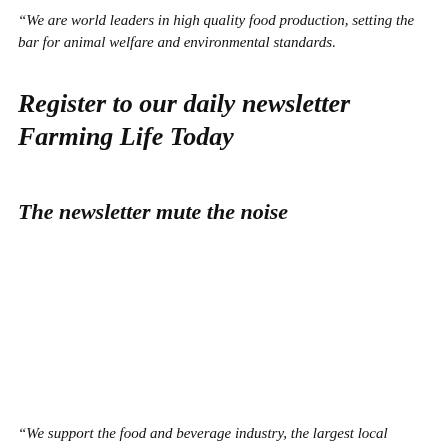“We are world leaders in high quality food production, setting the bar for animal welfare and environmental standards.
Register to our daily newsletter Farming Life Today
The newsletter mute the noise
“We support the food and beverage industry, the largest local